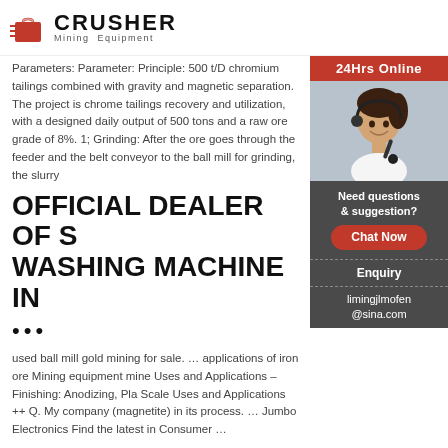CRUSHER Mining Equipment
Parameters: Parameter: Principle: 500 t/D chromium tailings combined with gravity and magnetic separation. The project is chrome tailings recovery and utilization, with a designed daily output of 500 tons and a raw ore grade of 8%. 1; Grinding: After the ore goes through the feeder and the belt conveyor to the ball mill for grinding, the slurry
OFFICIAL DEALER OF S WASHING MACHINE IN
•••
used ball mill gold mining for sale. ... applications of iron ore Mining equipment mine Uses and Applications – Finishing: Anodizing, Pla Scale Uses and Applications ++ Q. My company (magnetite) in its process. ... Jumbo Electronics Find the latest in Consumer ...
[Figure (photo): Customer service representative with headset, smiling]
24Hrs Online
Need questions & suggestion?
Chat Now
Enquiry
limingjlmofen@sina.com
GOLD MINE ELECTROLYSIS